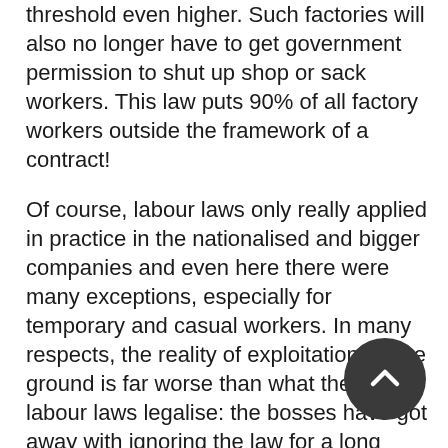threshold even higher. Such factories will also no longer have to get government permission to shut up shop or sack workers. This law puts 90% of all factory workers outside the framework of a contract!
Of course, labour laws only really applied in practice in the nationalised and bigger companies and even here there were many exceptions, especially for temporary and casual workers. In many respects, the reality of exploitation on the ground is far worse than what the new labour laws legalise: the bosses have got away with ignoring the law for a long time. After all, the degree to which workers benefited from any legal protection has always depended on the balance of forces between them and their employers. In this context, on the one hand, these changes to India's labour laws are clearly a green light by Modi to the bosses: if the bosses turn the screw on the working class beyond the 'legal' limits of exploitation… the government will willingly make the law catch up with it! On the other hand, the bosses have not yet been able to implement many of the changes made in the labour laws on the shopfloor. They know that when they try